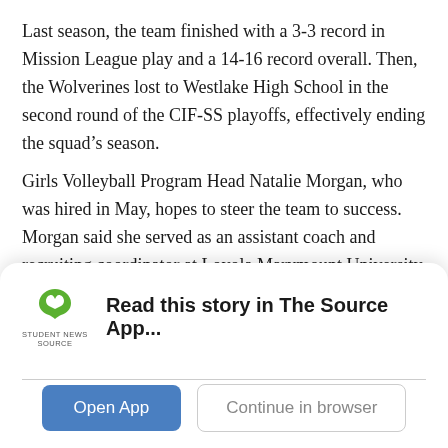Last season, the team finished with a 3-3 record in Mission League play and a 14-16 record overall. Then, the Wolverines lost to Westlake High School in the second round of the CIF-SS playoffs, effectively ending the squad's season.
Girls Volleyball Program Head Natalie Morgan, who was hired in May, hopes to steer the team to success. Morgan said she served as an assistant coach and recruiting coordinator at Loyola Marymount University, worked with USA Volleyball and currently works at Surfside Volleyball Club in Manhattan Beach.
Morgan said the team’s strong team spirit and its core values
[Figure (logo): Student News Source app logo with green S-shaped icon and text 'STUDENT NEWS SOURCE']
Read this story in The Source App...
Open App
Continue in browser